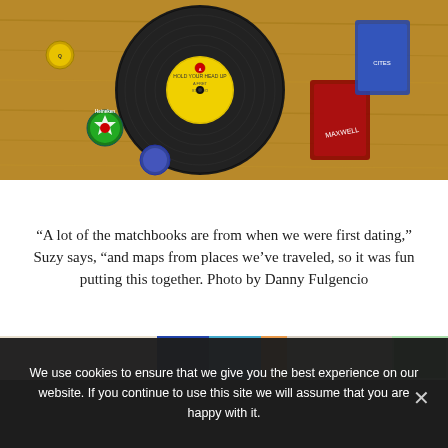[Figure (photo): Overhead photo of a vinyl record (45 RPM) with a yellow label on a wooden surface alongside bottle caps including a Heineken cap, matchbooks, and vintage collectibles]
“A lot of the matchbooks are from when we were first dating,” Suzy says, “and maps from places we’ve traveled, so it was fun putting this together. Photo by Danny Fulgencio
[Figure (photo): Partial bottom strip showing colorful items including blue, teal, orange and green colored objects/matchbooks]
We use cookies to ensure that we give you the best experience on our website. If you continue to use this site we will assume that you are happy with it.